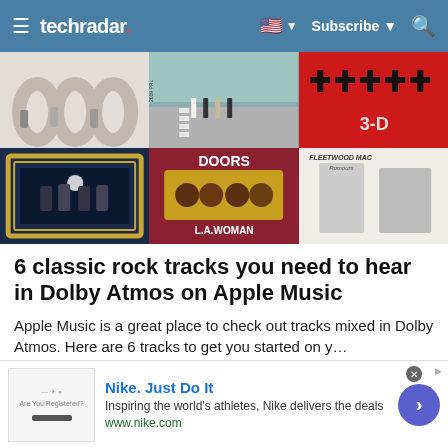techradar | Subscribe | Search
[Figure (photo): Grid of 6 classic rock album covers: top row - MGMT, The Beatles Abbey Road, Depeche Mode 3-D; bottom row - The Cars, The Doors L.A. Woman, Fleetwood Mac Rumours]
6 classic rock tracks you need to hear in Dolby Atmos on Apple Music
Apple Music is a great place to check out tracks mixed in Dolby Atmos. Here are 6 tracks to get you started on y...
[Figure (other): Nike advertisement banner: Nike. Just Do It - Inspiring the world's athletes, Nike delivers the deals - www.nike.com]